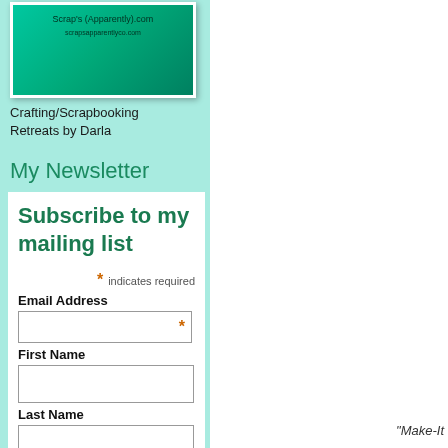[Figure (illustration): Green gradient image box with cursive text showing a URL for Crafting/Scrapbooking Retreats by Darla]
Crafting/Scrapbooking Retreats by Darla
My Newsletter
Subscribe to my mailing list
* indicates required
Email Address
First Name
Last Name
"Make-It